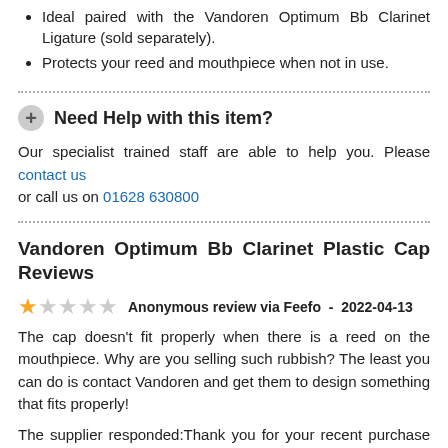Ideal paired with the Vandoren Optimum Bb Clarinet Ligature (sold separately).
Protects your reed and mouthpiece when not in use.
+ Need Help with this item?
Our specialist trained staff are able to help you. Please contact us or call us on 01628 630800
Vandoren Optimum Bb Clarinet Plastic Cap Reviews
★☆☆☆☆  Anonymous review via Feefo  -  2022-04-13
The cap doesn't fit properly when there is a reed on the mouthpiece. Why are you selling such rubbish? The least you can do is contact Vandoren and get them to design something that fits properly!
The supplier responded:Thank you for your recent purchase and review, I'm very sorry that the cap didn't live up to your expectation and we certainly will be passing your comments and our own along to the manufacturer. I'm pleased to hear that we